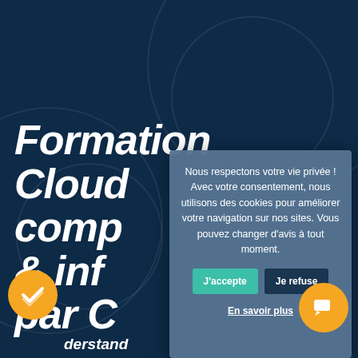Formation Cloud comp & inf par C
Nous respectons votre vie privée ! Avec votre consentement, nous utilisons des cookies pour améliorer votre navigation sur nos sites. Vous pouvez changer d'avis à tout moment.
J'accepte   Je refuse
En savoir plus
derstand